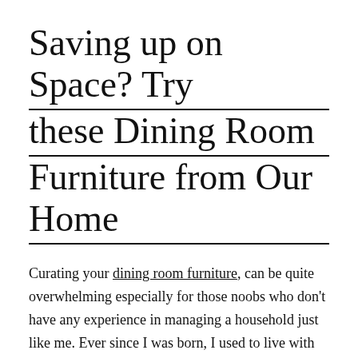Saving up on Space? Try these Dining Room Furniture from Our Home
Curating your dining room furniture, can be quite overwhelming especially for those noobs who don't have any experience in managing a household just like me. Ever since I was born, I used to live with my Mom and Grandmother and they would do all the budgeting, maintenance of the household and changing of all the home decors depending on what season it is of the year. These are just some of those challenges which might faze you once you enter another phase in your life, which is #adulting or when you decide to have a family of your own.